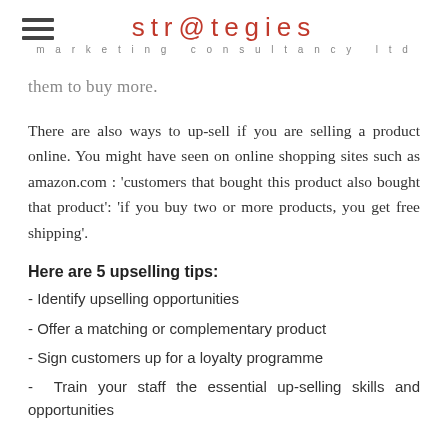str@tegies marketing consultancy ltd
them to buy more.
There are also ways to up-sell if you are selling a product online. You might have seen on online shopping sites such as amazon.com : 'customers that bought this product also bought that product': 'if you buy two or more products, you get free shipping'.
Here are 5 upselling tips:
- Identify upselling opportunities
- Offer a matching or complementary product
- Sign customers up for a loyalty programme
- Train your staff the essential up-selling skills and opportunities